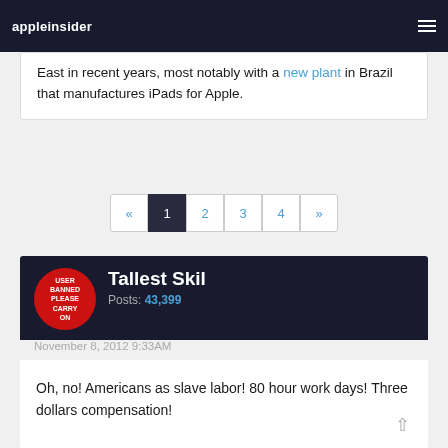appleinsider
East in recent years, most notably with a new plant in Brazil that manufactures iPads for Apple.
« 1 2 3 4 »
Tallest Skil
Posts: 43,399
November 8, 2012 9:33AM
Oh, no! Americans as slave labor! 80 hour work days! Three dollars compensation!